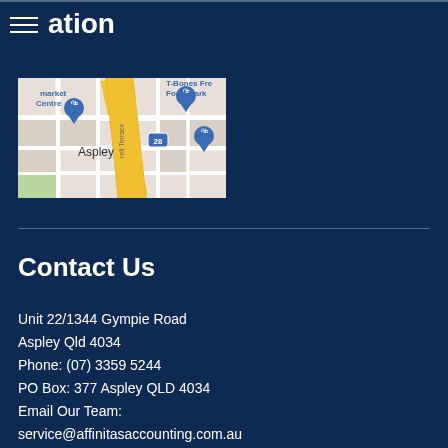ation
[Figure (map): Google Maps screenshot showing Aspley area with T-Bones Fresh Food Market and surrounding streets including Gympie Road]
Contact Us
Unit 22/1344 Gympie Road
Aspley Qld 4034
Phone: (07) 3359 5244
PO Box: 377 Aspley QLD 4034
Email Our Team:
service@affinitasaccounting.com.au